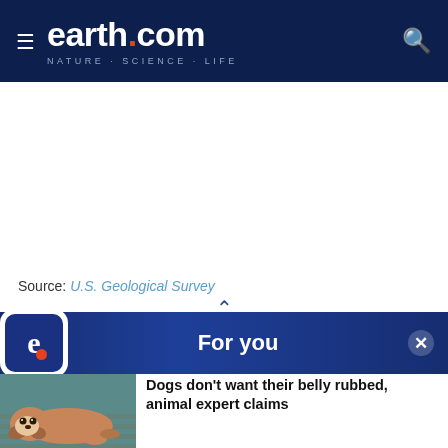earth.com — NATURE · SCIENCE · LIFE
Source: U.S. Geological Survey
For you
[Figure (photo): A brown and white dog lying on a wooden floor]
Dogs don't want their belly rubbed, animal expert claims